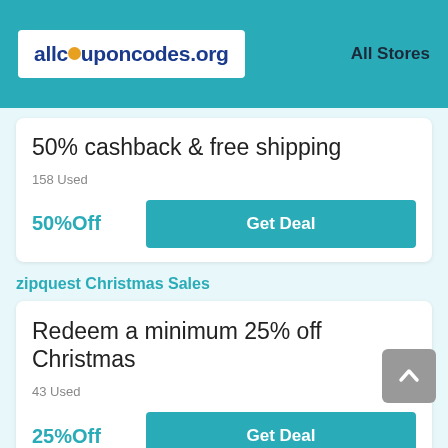allcouponcodes.org   All Stores
50% cashback & free shipping
158 Used
50%Off   Get Deal
zipquest Christmas Sales
Redeem a minimum 25% off Christmas
43 Used
25%Off   Get Deal